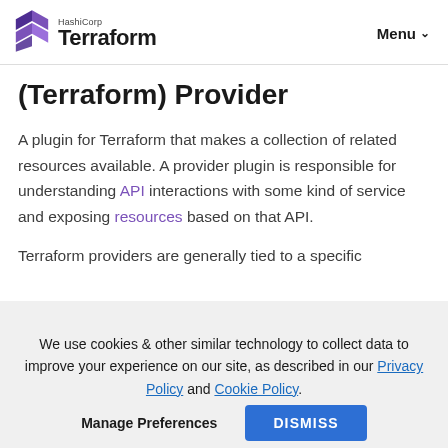HashiCorp Terraform | Menu
(Terraform) Provider
A plugin for Terraform that makes a collection of related resources available. A provider plugin is responsible for understanding API interactions with some kind of service and exposing resources based on that API.
Terraform providers are generally tied to a specific
We use cookies & other similar technology to collect data to improve your experience on our site, as described in our Privacy Policy and Cookie Policy.
Manage Preferences | DISMISS